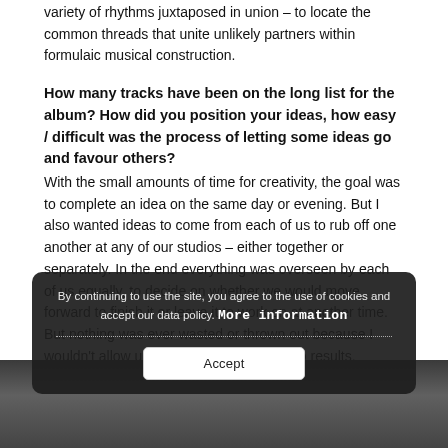variety of rhythms juxtaposed in union – to locate the common threads that unite unlikely partners within formulaic musical construction.
How many tracks have been on the long list for the album? How did you position your ideas, how easy / difficult was the process of letting some ideas go and favour others?
With the small amounts of time for creativity, the goal was to complete an idea on the same day or evening. But I also wanted ideas to come from each of us to rub off one another at any of our studios – either together or separately. In the end everything was overseen by each of us equally, to decide on whether we would move forward to finish it or leave it to work on at another time.  But nothing was ever wasted or thrown out because I wouldn't allow us to come together with no results.
[Figure (photo): Black and white photograph visible at the bottom of the page, partially obscured by a cookie consent overlay banner.]
By continuing to use the site, you agree to the use of cookies and accept our data policy. More information
Accept